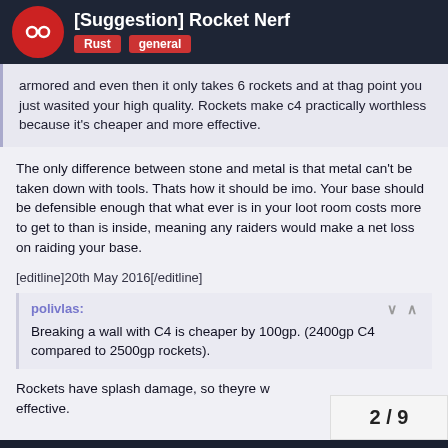[Suggestion] Rocket Nerf — Rust | general
armored and even then it only takes 6 rockets and at thag point you just wasited your high quality. Rockets make c4 practically worthless because it's cheaper and more effective.
The only difference between stone and metal is that metal can't be taken down with tools. Thats how it should be imo. Your base should be defensible enough that what ever is in your loot room costs more to get to than is inside, meaning any raiders would make a net loss on raiding your base.
[editline]20th May 2016[/editline]
polivlas:
Breaking a wall with C4 is cheaper by 100gp. (2400gp C4 compared to 2500gp rockets).
Rockets have splash damage, so theyre w effective.
2 / 9